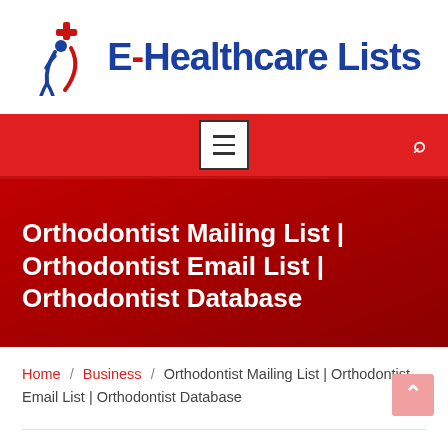[Figure (logo): E-Healthcare Lists logo with red and blue colors, featuring a figure with a cross symbol and text 'E-Healthcare Lists']
Navigation bar with hamburger menu and search icon on red background
Orthodontist Mailing List | Orthodontist Email List | Orthodontist Database
Home / Business / Orthodontist Mailing List | Orthodontist Email List | Orthodontist Database